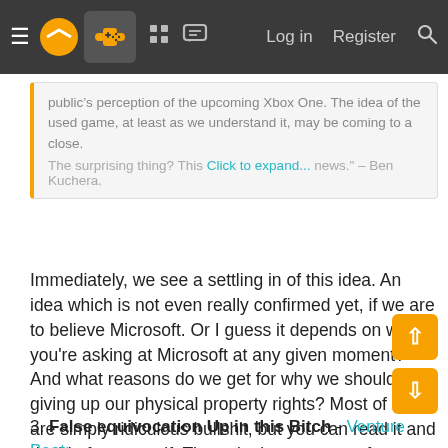Navigation bar with menu, logo, controller icon, grid icon, chat icon, Log in, Register, Search
public’s perception of the upcoming Xbox One. The idea of the used game, at least as we understand it, may be coming to a close.

The surprising thing? This could be good news." – Ben Kuchera.

Click to expand...
Immediately, we see a settling in of this idea. An idea which is not even really confirmed yet, if we are to believe Microsoft. Or I guess it depends on who you're asking at Microsoft at any given moment? And what reasons do we get for why we should be giving up our physical property rights? Most of them are simply ridiculous bullshit, but you can read it and decide for yourself. The point is, a pattern of some game journalists trying to shift the problem back on us, as if we should accept this lying down. As if it's not REALLY such a big deal!
3. False equivocation Up in this Bitch - Venture Beat: “But what happens if my Internet goes down?”-